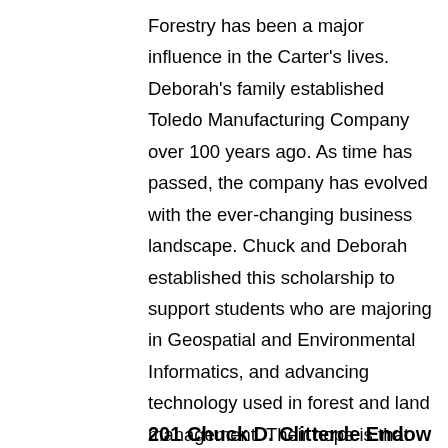Forestry has been a major influence in the Carter's lives. Deborah's family established Toledo Manufacturing Company over 100 years ago. As time has passed, the company has evolved with the ever-changing business landscape. Chuck and Deborah established this scholarship to support students who are majoring in Geospatial and Environmental Informatics, and advancing technology used in forest and land management. Their hope is that this new technology will better assist with the management of timber and forest assets.
201 Chuck D. Clitterde Endow...